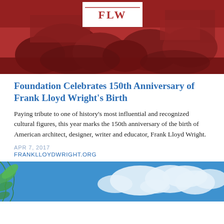[Figure (photo): Red-tinted aerial or landscape photo of a building/complex with trees, with a white FLW logo box in the upper center.]
Foundation Celebrates 150th Anniversary of Frank Lloyd Wright's Birth
Paying tribute to one of history's most influential and recognized cultural figures, this year marks the 150th anniversary of the birth of American architect, designer, writer and educator, Frank Lloyd Wright.
APR 7, 2017
FRANKLLOYDWRIGHT.ORG
[Figure (photo): Blue sky with white clouds and hanging green foliage in upper left corner.]